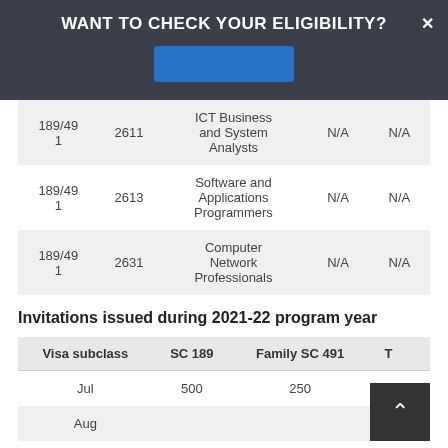WANT TO CHECK YOUR ELIGIBILITY?
| Visa subclass | ANZSCO | Occupation | N/A | N/A |
| --- | --- | --- | --- | --- |
| 189/491 | 2611 | ICT Business and System Analysts | N/A | N/A |
| 189/491 | 2613 | Software and Applications Programmers | N/A | N/A |
| 189/491 | 2631 | Computer Network Professionals | N/A | N/A |
Invitations issued during 2021-22 program year
| Visa subclass | SC 189 | Family SC 491 | Total |
| --- | --- | --- | --- |
| Jul | 500 | 250 | 7... |
| Aug | ... | ... | ... |